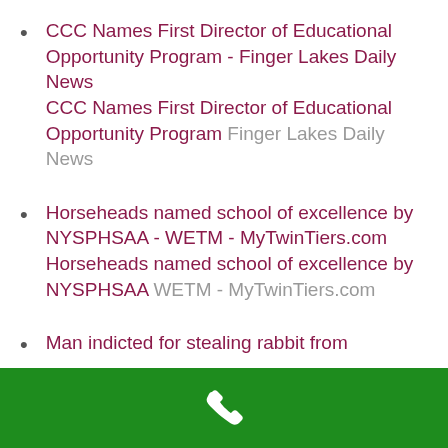CCC Names First Director of Educational Opportunity Program - Finger Lakes Daily News
CCC Names First Director of Educational Opportunity Program  Finger Lakes Daily News
Horseheads named school of excellence by NYSPHSAA - WETM - MyTwinTiers.com
Horseheads named school of excellence by NYSPHSAA  WETM - MyTwinTiers.com
Man indicted for stealing rabbit from
[Figure (other): Green footer bar with a white phone/call icon centered]